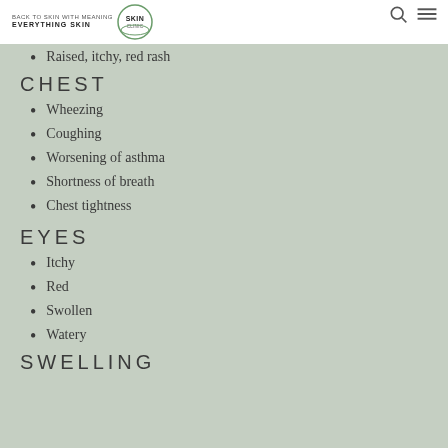Everything Skin Clinic
Raised, itchy, red rash
CHEST
Wheezing
Coughing
Worsening of asthma
Shortness of breath
Chest tightness
EYES
Itchy
Red
Swollen
Watery
SWELLING